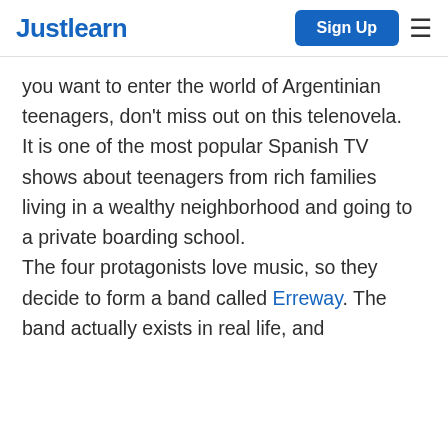Justlearn | Sign Up
you want to enter the world of Argentinian teenagers, don't miss out on this telenovela.
It is one of the most popular Spanish TV shows about teenagers from rich families living in a wealthy neighborhood and going to a private boarding school.
The four protagonists love music, so they decide to form a band called Erreway. The band actually exists in real life, and